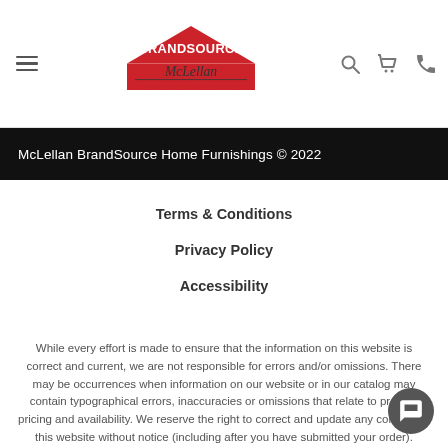[Figure (logo): BrandSource McLellan Home Furnishings logo with red house shape and script text]
McLellan BrandSource Home Furnishings © 2022
Terms & Conditions
Privacy Policy
Accessibility
While every effort is made to ensure that the information on this website is correct and current, we are not responsible for errors and/or omissions. There may be occurrences when information on our website or in our catalog may contain typographical errors, inaccuracies or omissions that relate to product pricing and availability. We reserve the right to correct and update any content on this website without notice (including after you have submitted your order).